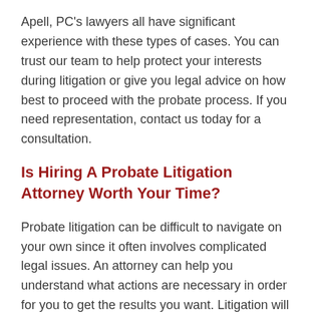Apell, PC's lawyers all have significant experience with these types of cases. You can trust our team to help protect your interests during litigation or give you legal advice on how best to proceed with the probate process. If you need representation, contact us today for a consultation.
Is Hiring A Probate Litigation Attorney Worth Your Time?
Probate litigation can be difficult to navigate on your own since it often involves complicated legal issues. An attorney can help you understand what actions are necessary in order for you to get the results you want. Litigation will also ensure that any evidence is brought forward so a fair decision, which benefits everyone involved, can be handed down. If you would like to schedule an appointment